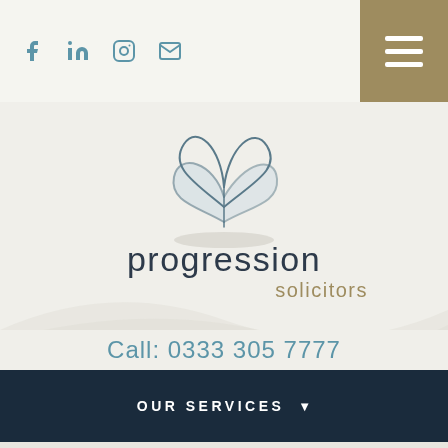Social icons: Facebook, LinkedIn, Instagram, Email | Hamburger menu button
[Figure (logo): Progression Solicitors logo — stylized butterfly/leaves SVG illustration above the text 'progression solicitors']
Call: 0333 305 7777
OUR SERVICES ▾